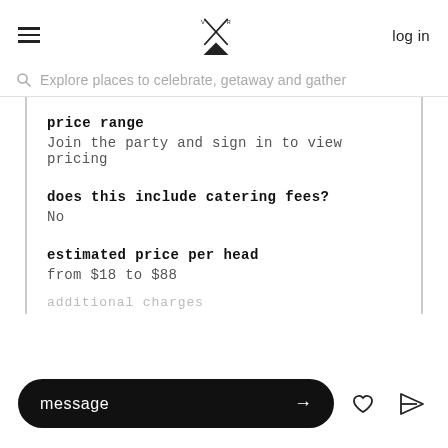log in
Explore places to celebrate, getaway and gather
price range
Join the party and sign in to view pricing
does this include catering fees?
No
estimated price per head
from $18 to $88
additional charges
message